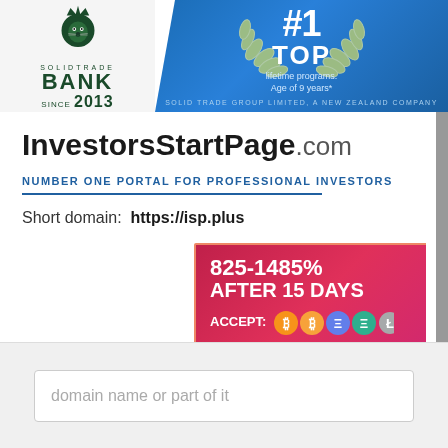[Figure (logo): Solidtrade Bank lion logo with text SOLIDTRADE BANK SINCE 2013]
[Figure (infographic): Blue banner with #1 TOP lifetime programs. Age of 9 years* SOLID TRADE GROUP LIMITED, a New Zealand Company, with laurel wreath]
InvestorsStartPage.com
NUMBER ONE PORTAL FOR PROFESSIONAL INVESTORS
Short domain:  https://isp.plus
[Figure (infographic): Pink/red ad banner: 825-1485% AFTER 15 DAYS | 0.8-10 DAILY PAYO... | ACCEPT: [Bitcoin and other crypto coin icons]]
domain name or part of it